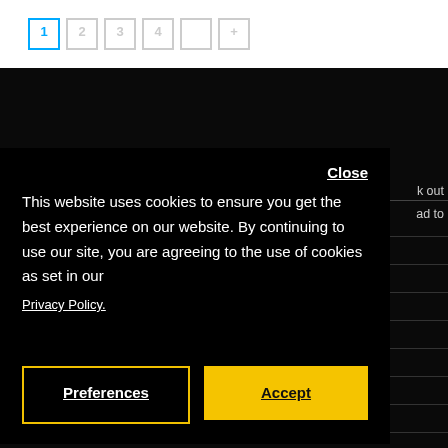Pagination buttons: 1, 2, 3, 4, (blank), +
WELCOME TO HOTMUSICFACTORY.COM
We sell a wide variety of Royalty-Free Instrumental Construction Kits and MIDI Loops in the styles of Rock, Jazz, Neo Soul, Gospel, Classical, Orchestral, Hip Hop and more.
INFO
AB
PR
TE
LI
PR
CO
RE
SI
Close
k out
ad to
This website uses cookies to ensure you get the best experience on our website. By continuing to use our site, you are agreeing to the use of cookies as set in our
Privacy Policy.
Preferences
Accept